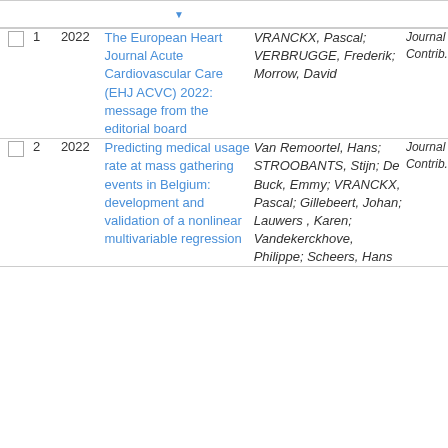|  | # | Year | Title | Authors | Type |
| --- | --- | --- | --- | --- | --- |
| ☐ | 1 | 2022 | The European Heart Journal Acute Cardiovascular Care (EHJ ACVC) 2022: message from the editorial board | VRANCKX, Pascal; VERBRUGGE, Frederik; Morrow, David | Journal Contrib. |
| ☐ | 2 | 2022 | Predicting medical usage rate at mass gathering events in Belgium: development and validation of a nonlinear multivariable regression | Van Remoortel, Hans; STROOBANTS, Stijn; De Buck, Emmy; VRANCKX, Pascal; Gillebeert, Johan; Lauwers , Karen; Vandekerckhove, Philippe; Scheers, Hans | Journal Contrib. |